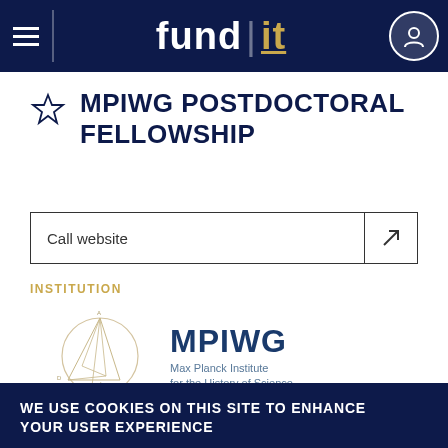fund it
MPIWG POSTDOCTORAL FELLOWSHIP
Call website
INSTITUTION
[Figure (logo): MPIWG logo: geometric circle and triangle diagram on left, 'MPIWG' in bold dark blue text, 'Max Planck Institute for the History of Science' subtitle]
WE USE COOKIES ON THIS SITE TO ENHANCE YOUR USER EXPERIENCE